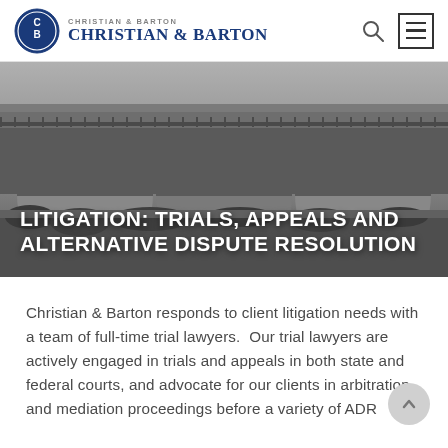Christian & Barton
[Figure (photo): Black and white photograph of a large stone arch bridge with multiple arches, taken from below at river level, with vegetation in the foreground and cloudy sky above.]
LITIGATION: TRIALS, APPEALS AND ALTERNATIVE DISPUTE RESOLUTION
Christian & Barton responds to client litigation needs with a team of full-time trial lawyers.  Our trial lawyers are actively engaged in trials and appeals in both state and federal courts, and advocate for our clients in arbitration and mediation proceedings before a variety of ADR